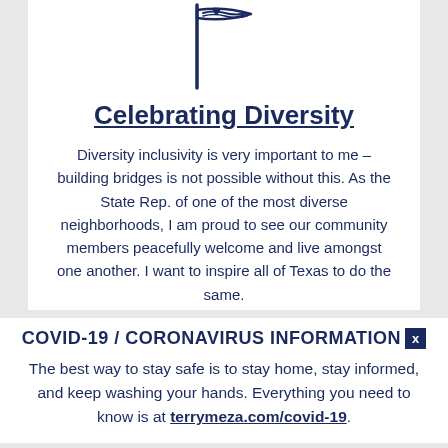[Figure (illustration): Icon of a flag with wave/heart design, drawn in navy blue outline style]
Celebrating Diversity
Diversity inclusivity is very important to me – building bridges is not possible without this. As the State Rep. of one of the most diverse neighborhoods, I am proud to see our community members peacefully welcome and live amongst one another. I want to inspire all of Texas to do the same.
COVID-19 / CORONAVIRUS INFORMATION
The best way to stay safe is to stay home, stay informed, and keep washing your hands. Everything you need to know is at terrymeza.com/covid-19.